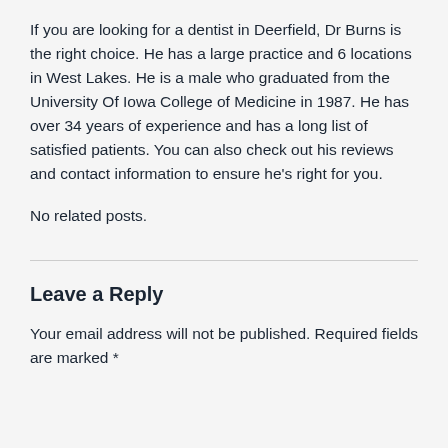If you are looking for a dentist in Deerfield, Dr Burns is the right choice. He has a large practice and 6 locations in West Lakes. He is a male who graduated from the University Of Iowa College of Medicine in 1987. He has over 34 years of experience and has a long list of satisfied patients. You can also check out his reviews and contact information to ensure he’s right for you.
No related posts.
Leave a Reply
Your email address will not be published. Required fields are marked *